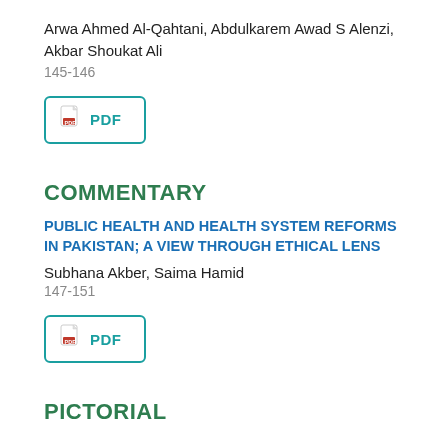Arwa Ahmed Al-Qahtani, Abdulkarem Awad S Alenzi, Akbar Shoukat Ali
145-146
[Figure (other): PDF download button with teal border and red PDF icon]
COMMENTARY
PUBLIC HEALTH AND HEALTH SYSTEM REFORMS IN PAKISTAN; A VIEW THROUGH ETHICAL LENS
Subhana Akber, Saima Hamid
147-151
[Figure (other): PDF download button with teal border and red PDF icon]
PICTORIAL